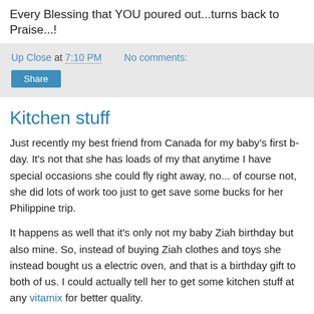Every Blessing that YOU poured out...turns back to Praise...!
Up Close at 7:10 PM   No comments:
Share
Kitchen stuff
Just recently my best friend from Canada for my baby’s first b-day. It's not that she has loads of my that anytime I have special occasions she could fly right away, no... of course not, she did lots of work too just to get save some bucks for her Philippine trip.
It happens as well that it's only not my baby Ziah birthday but also mine. So, instead of buying Ziah clothes and toys she instead bought us a electric oven, and that is a birthday gift to both of us. I could actually tell her to get some kitchen stuff at any vitamix for better quality.